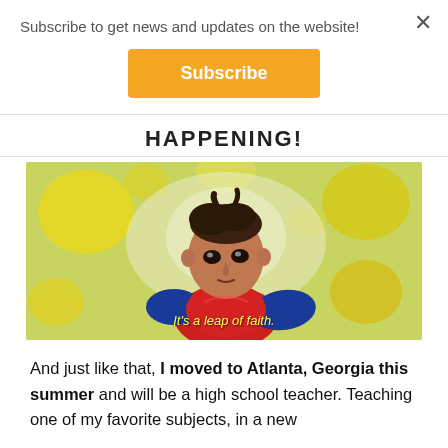Subscribe to get news and updates on the website!
Subscribe
HAPPENING!
[Figure (illustration): Animated superhero character (Spider-Man style) in red and blue costume looking upward against a yellow-green abstract paint splash background. Subtitle text reads: It's a leap of faith.]
And just like that, I moved to Atlanta, Georgia this summer and will be a high school teacher. Teaching one of my favorite subjects, in a new